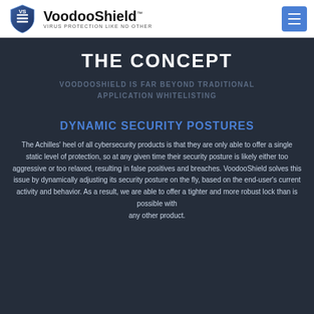VoodooShield — VIRUS PROTECTION LIKE NO OTHER
THE CONCEPT
VOODOOSHIELD IS FAR BEYOND TRADITIONAL APPLICATION WHITELISTING
DYNAMIC SECURITY POSTURES
The Achilles' heel of all cybersecurity products is that they are only able to offer a single static level of protection, so at any given time their security posture is likely either too aggressive or too relaxed, resulting in false positives and breaches. VoodooShield solves this issue by dynamically adjusting its security posture on the fly, based on the end-user's current activity and behavior. As a result, we are able to offer a tighter and more robust lock than is possible with any other product.